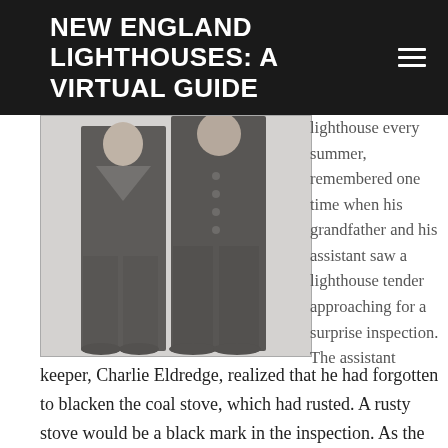NEW ENGLAND LIGHTHOUSES: A VIRTUAL GUIDE
[Figure (photo): Black and white photograph of two people in naval/maritime uniforms standing side by side against a light background]
lighthouse every summer, remembered one time when his grandfather and his assistant saw a lighthouse tender approaching for a surprise inspection. The assistant
keeper, Charlie Eldredge, realized that he had forgotten to blacken the coal stove, which had rusted. A rusty stove would be a black mark in the inspection. As the tender approached the men made a fire in the stove and put pots full of water on the burners. The men told